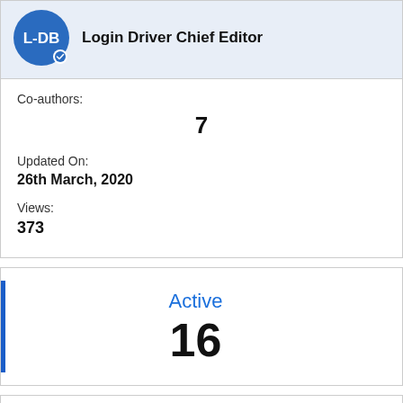[Figure (logo): Blue circular logo with text L-DB and a checkmark badge, next to the title Login Driver Chief Editor]
Login Driver Chief Editor
Co-authors:
7
Updated On:
26th March, 2020
Views:
373
Active
16
Answers